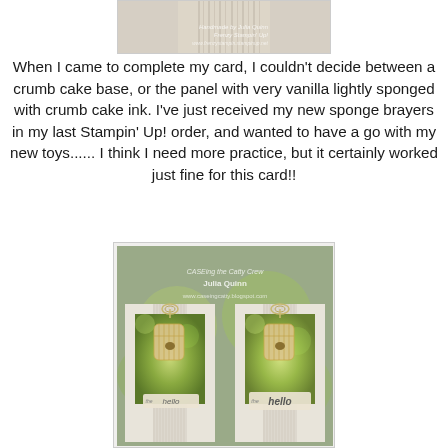[Figure (photo): Top portion of a handmade card showing textured vanilla/crumb cake colored panel with watermark text 'Handmade by Julia Quinn, Frenzy Stampin Up!']
When I came to complete my card, I couldn't decide between a crumb cake base, or the panel with very vanilla lightly sponged with crumb cake ink. I've just received my new sponge brayers in my last Stampin' Up! order, and wanted to have a go with my new toys...... I think I need more practice, but it certainly worked just fine for this card!!
[Figure (photo): Photo showing two handmade cards side by side, each featuring a green bokeh panel with a birdcage image, twine bow at top, and 'hello' banner at the bottom. Watermark reads 'CASEing the Catty Crew Julia Quinn www.caseingcatty.blogspot.com']